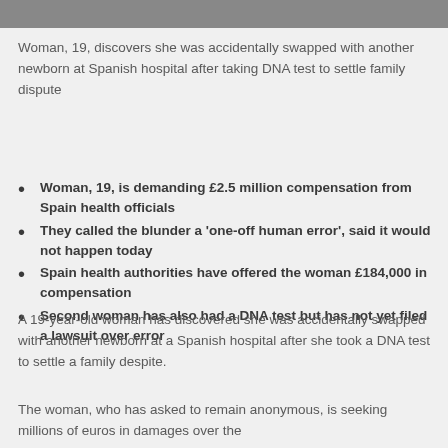[Figure (photo): Partial photo strip at top of page, cropped image]
Woman, 19, discovers she was accidentally swapped with another newborn at Spanish hospital after taking DNA test to settle family dispute
Woman, 19, is demanding £2.5 million compensation from Spain health officials
They called the blunder a 'one-off human error', said it would not happen today
Spain health authorities have offered the woman £184,000 in compensation
Second woman has also had a DNA test but has not yet filed a lawsuit over error
A 19-year-old woman has discovered she was accidentally swapped with another newborn at a Spanish hospital after she took a DNA test to settle a family despite.
The woman, who has asked to remain anonymous, is seeking millions of euros in damages over the